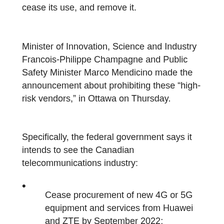cease its use, and remove it.
Minister of Innovation, Science and Industry Francois-Philippe Champagne and Public Safety Minister Marco Mendicino made the announcement about prohibiting these “high-risk vendors,” in Ottawa on Thursday.
Specifically, the federal government says it intends to see the Canadian telecommunications industry:
Cease procurement of new 4G or 5G equipment and services from Huawei and ZTE by September 2022;
Terminate the use of any new or existing 5G equipment